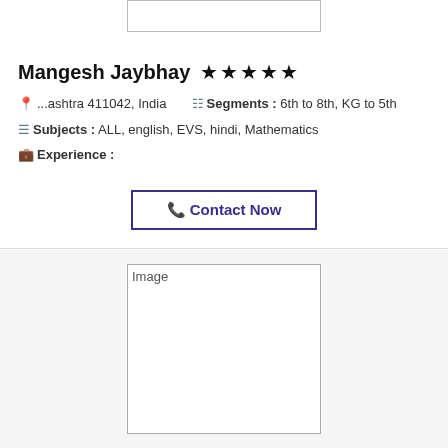[Figure (other): Profile image placeholder box at top center]
Mangesh Jaybhay ★★★★★
📍 ...ashtra 411042, India   ☰ Segments : 6th to 8th, KG to 5th
📋 Subjects : ALL, english, EVS, hindi, Mathematics
💼 Experience :
📞 Contact Now
[Figure (photo): Image placeholder box at bottom center]